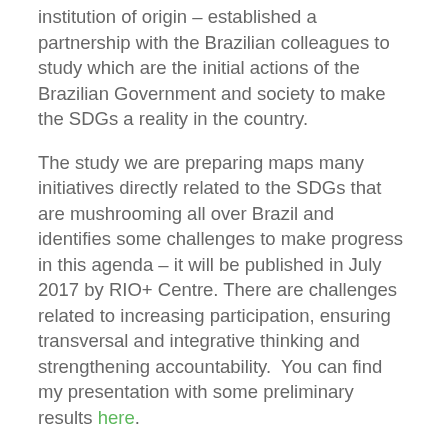institution of origin – established a partnership with the Brazilian colleagues to study which are the initial actions of the Brazilian Government and society to make the SDGs a reality in the country.
The study we are preparing maps many initiatives directly related to the SDGs that are mushrooming all over Brazil and identifies some challenges to make progress in this agenda – it will be published in July 2017 by RIO+ Centre. There are challenges related to increasing participation, ensuring transversal and integrative thinking and strengthening accountability.  You can find my presentation with some preliminary results here.
Localization – bringing the SDGs to the local level